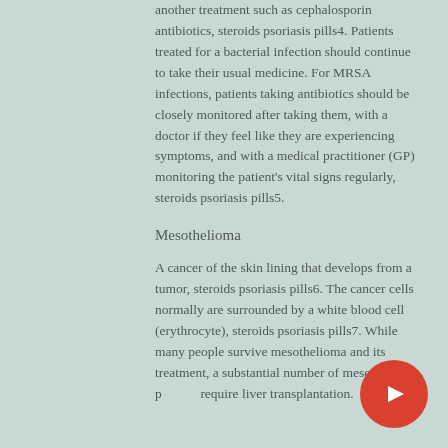another treatment such as cephalosporin antibiotics, steroids psoriasis pills4. Patients treated for a bacterial infection should continue to take their usual medicine. For MRSA infections, patients taking antibiotics should be closely monitored after taking them, with a doctor if they feel like they are experiencing symptoms, and with a medical practitioner (GP) monitoring the patient's vital signs regularly, steroids psoriasis pills5.
Mesothelioma
A cancer of the skin lining that develops from a tumor, steroids psoriasis pills6. The cancer cells normally are surrounded by a white blood cell (erythrocyte), steroids psoriasis pills7. While many people survive mesothelioma and its treatment, a substantial number of mesothelioma patients require liver transplantation.
[Figure (other): YouTube play button icon — red circle with white play triangle]